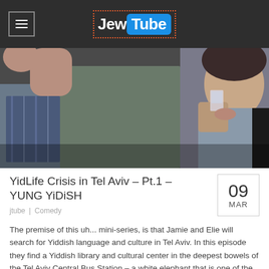JewTube
[Figure (photo): Two men, one drinking from a glass, photographed in a close-up scene]
YidLife Crisis in Tel Aviv – Pt.1 – YUNG YiDiSH
09 MAR
jtube | Comedy
The premise of this uh... mini-series, is that Jamie and Elie will search for Yiddish language and culture in Tel Aviv. In this episode they find a Yiddish library and cultural center in the deepest bowels of the Tel Aviv Central Bus Station – a white elephant that is one of the biggest bus stations [...]